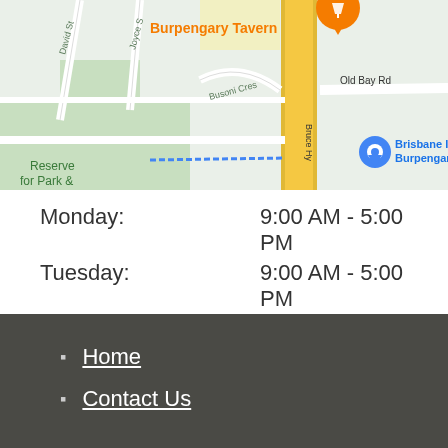[Figure (map): Google Maps screenshot showing Burpengary area with roads including Bruce Hwy, Old Bay Rd, David St, Joyce St, Busoni Cres, and landmarks including Burpengary Tavern and Brisbane Isuzu Burpengary. Reserve for Park & visible bottom left.]
| Day | Hours |
| --- | --- |
| Monday: | 9:00 AM - 5:00 PM |
| Tuesday: | 9:00 AM - 5:00 PM |
| Wednesday: | 9:00 AM - 5:00 PM |
| Thursday: | 9:00 AM - 5:30 PM |
| Friday: | 9:00 AM - 5:00 PM |
| Saturday: | 9:00 AM - 1:00 PM |
| Sunday: | Closed |
Home
Contact Us